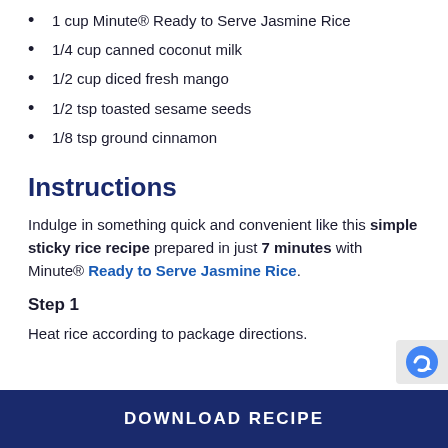1 cup Minute® Ready to Serve Jasmine Rice
1/4 cup canned coconut milk
1/2 cup diced fresh mango
1/2 tsp toasted sesame seeds
1/8 tsp ground cinnamon
Instructions
Indulge in something quick and convenient like this simple sticky rice recipe prepared in just 7 minutes with Minute® Ready to Serve Jasmine Rice.
Step 1
Heat rice according to package directions.
DOWNLOAD RECIPE